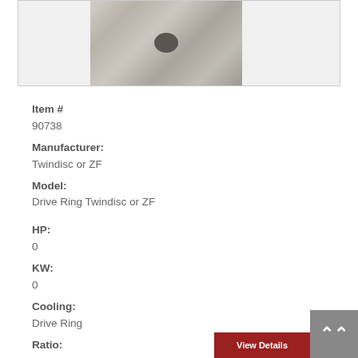[Figure (photo): Product photo of a Drive Ring Twindisc or ZF component, showing a worn metallic circular part on a light background]
Item #
90738
Manufacturer:
Twindisc or ZF
Model:
Drive Ring Twindisc or ZF
HP:
0
KW:
0
Cooling:
Drive Ring
Ratio:
0:1
Qty:
1